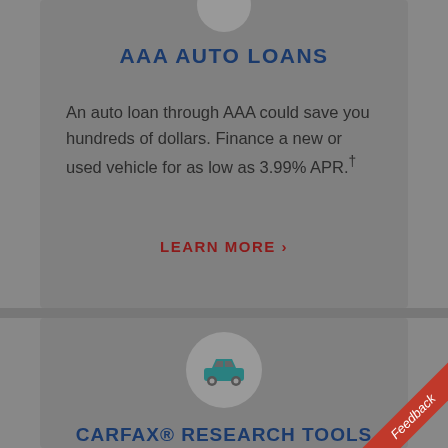[Figure (illustration): Partial gray circular icon at top of page (AAA auto loans icon, cropped)]
AAA AUTO LOANS
An auto loan through AAA could save you hundreds of dollars. Finance a new or used vehicle for as low as 3.99% APR.†
LEARN MORE ›
[Figure (illustration): Teal car icon inside a gray circle representing CARFAX Research Tools]
CARFAX® RESEARCH TOOLS
[Figure (illustration): Red diagonal Feedback ribbon in bottom-right corner]